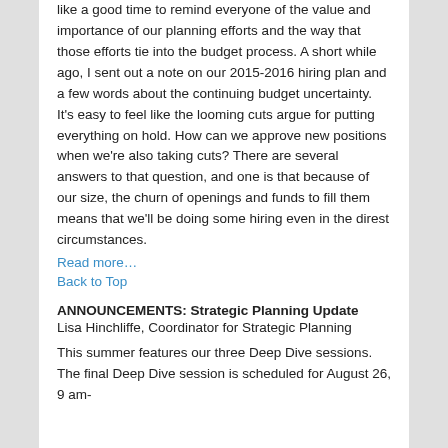like a good time to remind everyone of the value and importance of our planning efforts and the way that those efforts tie into the budget process. A short while ago, I sent out a note on our 2015-2016 hiring plan and a few words about the continuing budget uncertainty. It's easy to feel like the looming cuts argue for putting everything on hold. How can we approve new positions when we're also taking cuts? There are several answers to that question, and one is that because of our size, the churn of openings and funds to fill them means that we'll be doing some hiring even in the direst circumstances.
Read more…
Back to Top
ANNOUNCEMENTS: Strategic Planning Update
Lisa Hinchliffe, Coordinator for Strategic Planning
This summer features our three Deep Dive sessions. The final Deep Dive session is scheduled for August 26, 9 am-